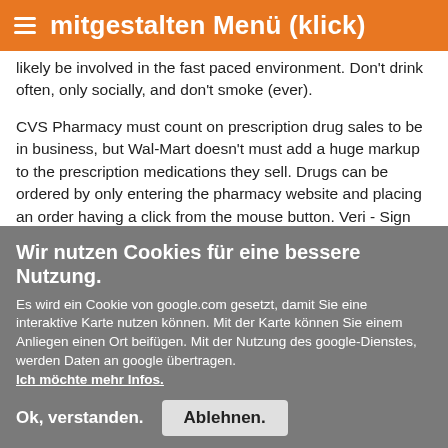mitgestalten Menü (klick)
likely be involved in the fast paced environment. Don't drink often, only socially, and don't smoke (ever).
CVS Pharmacy must count on prescription drug sales to be in business, but Wal-Mart doesn't must add a huge markup to the prescription medications they sell. Drugs can be ordered by only entering the pharmacy website and placing an order having a click from the mouse button. Veri - Sign and Scan - Alert Hacker Safe include the two names you ought to be looking out for as well as these names will proclaim these websites feel safe for paying online.
Pharmacists also be employed in close exposure to pharmacy technicians and pharmacy aides who help them inside the
Wir nutzen Cookies für eine bessere Nutzung.
Es wird ein Cookie von google.com gesetzt, damit Sie eine interaktive Karte nutzen können. Mit der Karte können Sie einem Anliegen einen Ort beifügen. Mit der Nutzung des google-Dienstes, werden Daten an google übertragen. Ich möchte mehr Infos.
Ok, verstanden.
Ablehnen.